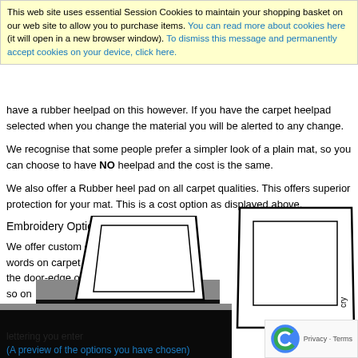This web site uses essential Session Cookies to maintain your shopping basket on our web site to allow you to purchase items. You can read more about cookies here (it will open in a new browser window). To dismiss this message and permanently accept cookies on your device, click here.
have a rubber heelpad on this however. If you have the carpet heelpad selected when you change the material you will be alerted to any change.
We recognise that some people prefer a simpler look of a plain mat, so you can choose to have NO heelpad and the cost is the same.
We also offer a Rubber heel pad on all carpet qualities. This offers superior protection for your mat. This is a cost option as displayed above.
Embroidery Options:
We offer custom embroidered words on carpet mats along the door-edge of the front pair, so on
[Figure (photo): Photo of dark carpet car mat with embroidery illustration overlaid]
[Figure (illustration): Line drawing diagram of car mat with embroidery border options]
lettering you enter
(A preview of the options you have chosen)
does not fit along
Privacy · Terms